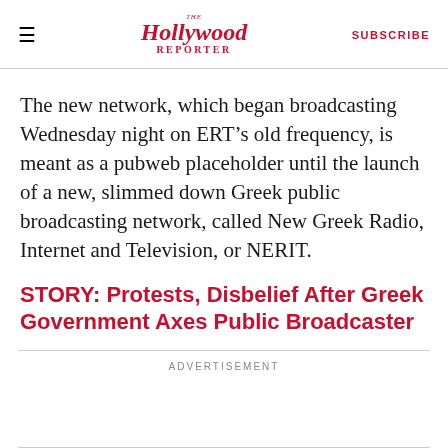The Hollywood Reporter | SUBSCRIBE
The new network, which began broadcasting Wednesday night on ERT’s old frequency, is meant as a pubweb placeholder until the launch of a new, slimmed down Greek public broadcasting network, called New Greek Radio, Internet and Television, or NERIT.
STORY: Protests, Disbelief After Greek Government Axes Public Broadcaster
ADVERTISEMENT